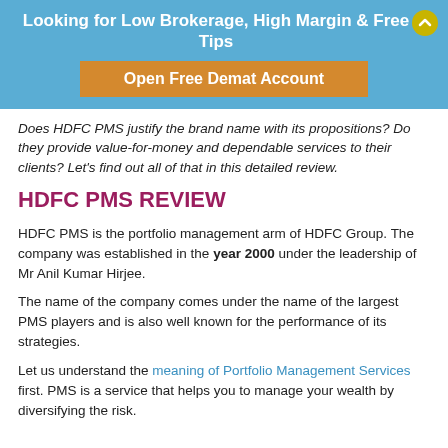Looking for Low Brokerage, High Margin & Free Tips
Open Free Demat Account
Does HDFC PMS justify the brand name with its propositions? Do they provide value-for-money and dependable services to their clients? Let's find out all of that in this detailed review.
HDFC PMS REVIEW
HDFC PMS is the portfolio management arm of HDFC Group. The company was established in the year 2000 under the leadership of Mr Anil Kumar Hirjee.
The name of the company comes under the name of the largest PMS players and is also well known for the performance of its strategies.
Let us understand the meaning of Portfolio Management Services first. PMS is a service that helps you to manage your wealth by diversifying the risk.